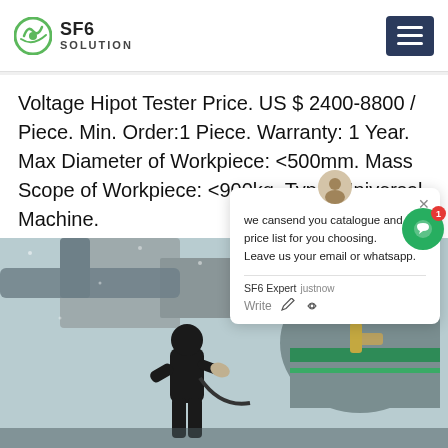SF6 SOLUTION
Voltage Hipot Tester Price. US $ 2400-8800 / Piece. Min. Order:1 Piece. Warranty: 1 Year. Max Diameter of Workpiece: <500mm. Mass Scope of Workpiece: <900kg. Type: Universal Machine.
Get Price
we cansend you catalogue and price list for you choosing.
Leave us your email or whatsapp.
SF6 Expert   justnow
Write
[Figure (photo): Worker in dark winter clothing working on industrial SF6 gas equipment outdoors in snowy conditions, handling large grey cylindrical pipes with green-banded fittings]